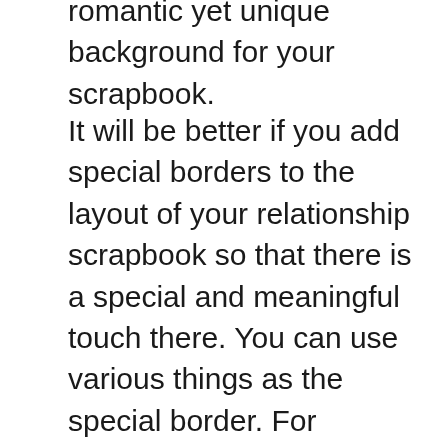romantic yet unique background for your scrapbook.
It will be better if you add special borders to the layout of your relationship scrapbook so that there is a special and meaningful touch there. You can use various things as the special border. For example, laces or ribbons. Those 2 things are related to anything romantic and sweet. But if you think that laces and ribbons are too mainstream, you can use other things. Such as heart-shaped buttons, hear rolling stamp, and many more. If you use heart-shaped buttons, leave at least an inch between buttons. You can buy those decorations in the craft stores or buy it online for your scrapbook ideas relationship.